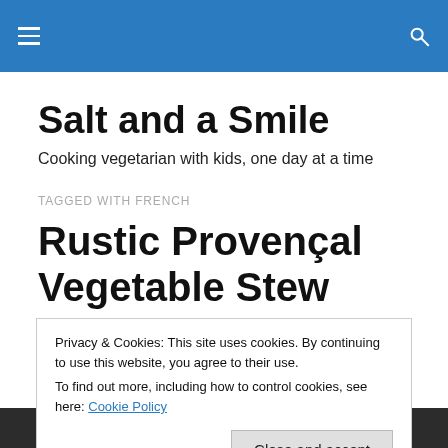Salt and a Smile — navigation bar
Salt and a Smile
Cooking vegetarian with kids, one day at a time
TAGGED WITH FRENCH
Rustic Provençal Vegetable Stew
Privacy & Cookies: This site uses cookies. By continuing to use this website, you agree to their use.
To find out more, including how to control cookies, see here: Cookie Policy
[Figure (photo): Dark photo strip at bottom of page, likely food photograph]